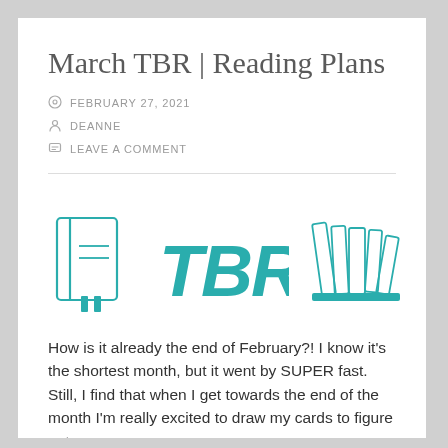March TBR | Reading Plans
FEBRUARY 27, 2021
DEANNE
LEAVE A COMMENT
[Figure (illustration): Teal/turquoise illustrated graphic showing a notebook/book on the left, the text 'TBR' in hand-lettered style in the center, and a stack of books on the right.]
How is it already the end of February?! I know it's the shortest month, but it went by SUPER fast. Still, I find that when I get towards the end of the month I'm really excited to draw my cards to figure out my